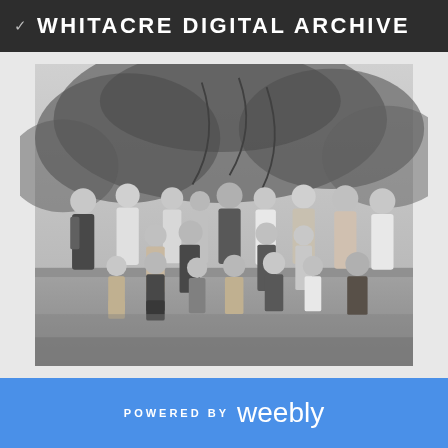WHITACRE DIGITAL ARCHIVE
[Figure (photo): Black and white group photograph of approximately 20 adults and children posed outdoors on a lawn with trees in the background. Three rows of people: back row of standing adults, middle row of standing younger people, and front row of children kneeling or sitting on the grass.]
POWERED BY weebly